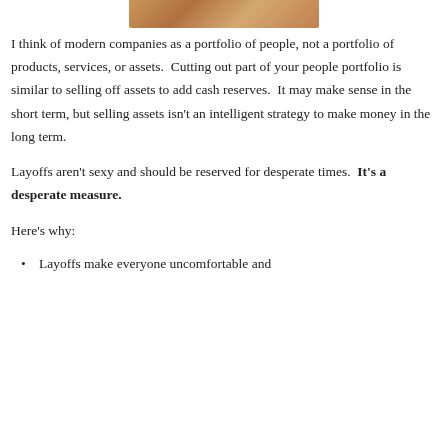[Figure (photo): Partial image of hands or a person, cropped at top of page]
I think of modern companies as a portfolio of people, not a portfolio of products, services, or assets.  Cutting out part of your people portfolio is similar to selling off assets to add cash reserves.  It may make sense in the short term, but selling assets isn't an intelligent strategy to make money in the long term.
Layoffs aren't sexy and should be reserved for desperate times.  It's a desperate measure.
Here's why:
Layoffs make everyone uncomfortable and